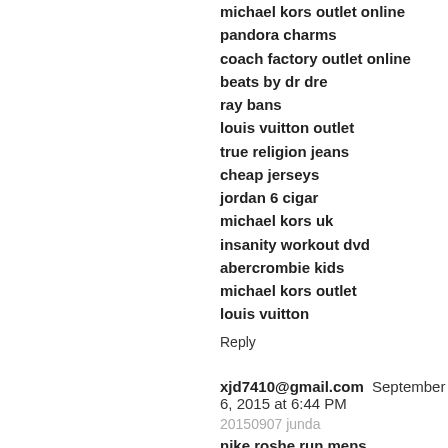michael kors outlet online
pandora charms
coach factory outlet online
beats by dr dre
ray bans
louis vuitton outlet
true religion jeans
cheap jerseys
jordan 6 cigar
michael kors uk
insanity workout dvd
abercrombie kids
michael kors outlet
louis vuitton
Reply
xjd7410@gmail.com  September 6, 2015 at 6:44 PM
20150907 junda
nike roshe run mens
air max shoes
nike air max 90
nike air force 1
oakley sunglasses outlet
fitflop uk